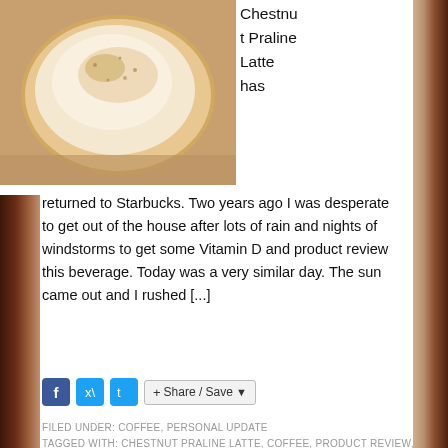[Figure (photo): Photo of a Chestnut Praline Latte in a white bowl/cup with foam and toppings, viewed from above]
Chestnut Praline Latte has returned to Starbucks. Two years ago I was desperate to get out of the house after lots of rain and nights of windstorms to get some Vitamin D and product review this beverage. Today was a very similar day. The sun came out and I rushed [...]
Share / Save
FILED UNDER: COFFEE, PERSONAL UPDATE
TAGGED WITH: CHESTNUT PRALINE LATTE, COFFEE, PRODUCT REVIEW, STARBUCKS, SUZIE THE FOODIE
Mini Devil's Food